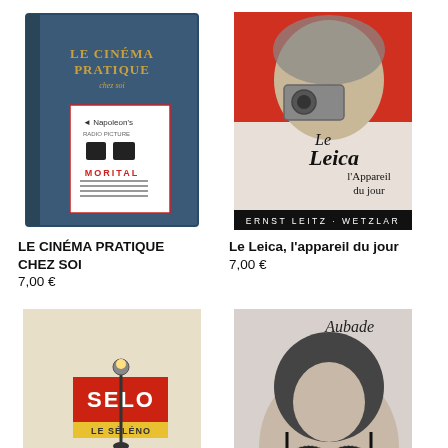[Figure (photo): Blue book cover for 'LE CINÉMA PRATIQUE CHEZ SOI' with a label/sticker showing animals and text 'MORITAL']
LE CINÉMA PRATIQUE CHEZ SOI
7,00 €
[Figure (photo): Vintage Leica camera advertisement showing a woman holding a camera, with text 'Le Leica l'Appareil du jour' and 'ERNST LEITZ · WETZLAR' at bottom]
Le Leica, l'appareil du jour
7,00 €
[Figure (photo): Vintage SELO film advertisement showing a stylized figure in black holding a flag with red banner saying 'SELO LE SÉLÉNO']
[Figure (photo): Aubade lingerie advertisement showing a woman in black lace bra with 'Aubade' text in top right corner]